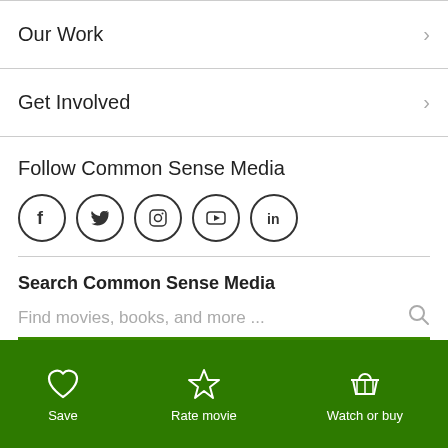Our Work
Get Involved
Follow Common Sense Media
[Figure (infographic): Social media icons: Facebook, Twitter, Instagram, YouTube, LinkedIn]
Search Common Sense Media
Find movies, books, and more ...
Save | Rate movie | Watch or buy